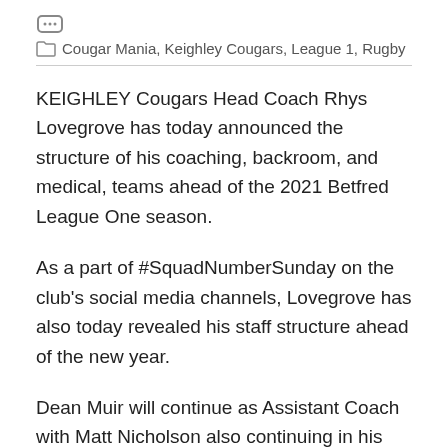Cougar Mania, Keighley Cougars, League 1, Rugby
KEIGHLEY Cougars Head Coach Rhys Lovegrove has today announced the structure of his coaching, backroom, and medical, teams ahead of the 2021 Betfred League One season.
As a part of #SquadNumberSunday on the club's social media channels, Lovegrove has also today revealed his staff structure ahead of the new year.
Dean Muir will continue as Assistant Coach with Matt Nicholson also continuing in his role as Head Trainer, which will see him don the yellow shirt on gamedays and assist both Rhys and Dean on both gamedays and training